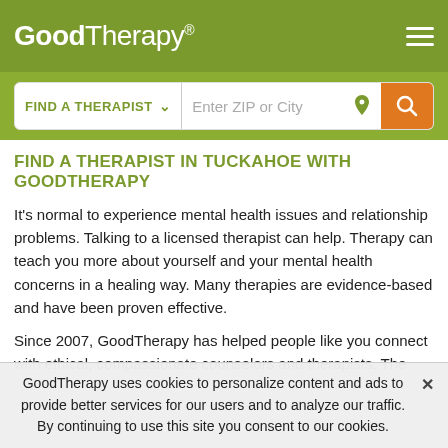GoodTherapy®
[Figure (screenshot): GoodTherapy website header with logo, hamburger menu, and search bar with FIND A THERAPIST dropdown and Enter ZIP or City input field with orange search button]
FIND A THERAPIST IN TUCKAHOE WITH GOODTHERAPY
It's normal to experience mental health issues and relationship problems. Talking to a licensed therapist can help. Therapy can teach you more about yourself and your mental health concerns in a healing way. Many therapies are evidence-based and have been proven effective.
Since 2007, GoodTherapy has helped people like you connect with ethical, compassionate counselors and therapists. The
GoodTherapy uses cookies to personalize content and ads to provide better services for our users and to analyze our traffic. By continuing to use this site you consent to our cookies.